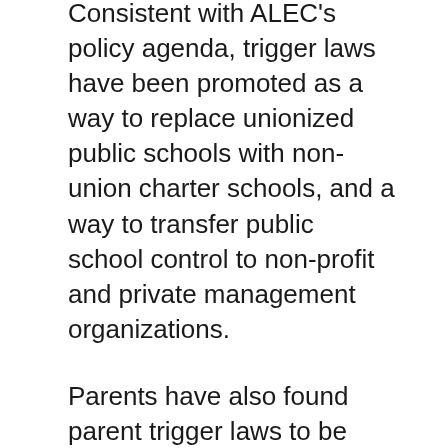Consistent with ALEC's policy agenda, trigger laws have been promoted as a way to replace unionized public schools with non-union charter schools, and a way to transfer public school control to non-profit and private management organizations.
Parents have also found parent trigger laws to be disempowering. For instance, parents in one California school have lodged complaints against parent trigger proponents for providing misleading information. Just this summer, after nearly 100 of those parents requested to have their names removed from a trigger petition (pushing the petition below